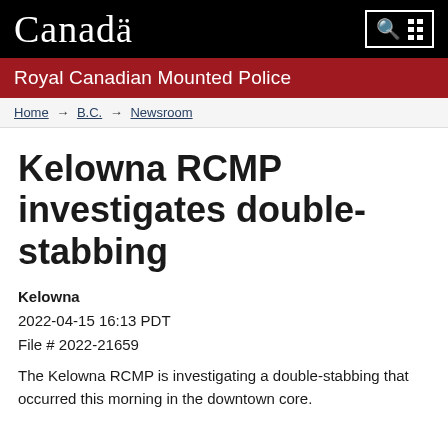Canada | Royal Canadian Mounted Police
Home → B.C. → Newsroom
Kelowna RCMP investigates double-stabbing
Kelowna
2022-04-15 16:13 PDT
File # 2022-21659
The Kelowna RCMP is investigating a double-stabbing that occurred this morning in the downtown core.